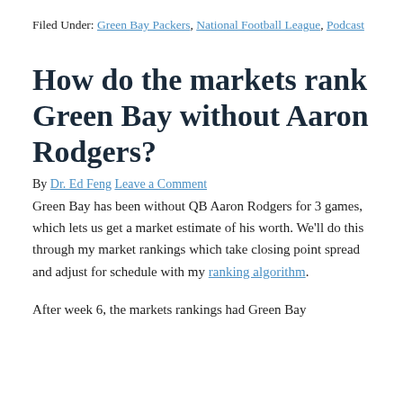Filed Under: Green Bay Packers, National Football League, Podcast
How do the markets rank Green Bay without Aaron Rodgers?
By Dr. Ed Feng Leave a Comment
Green Bay has been without QB Aaron Rodgers for 3 games, which lets us get a market estimate of his worth. We'll do this through my market rankings which take closing point spread and adjust for schedule with my ranking algorithm.
After week 6, the markets rankings had Green Bay